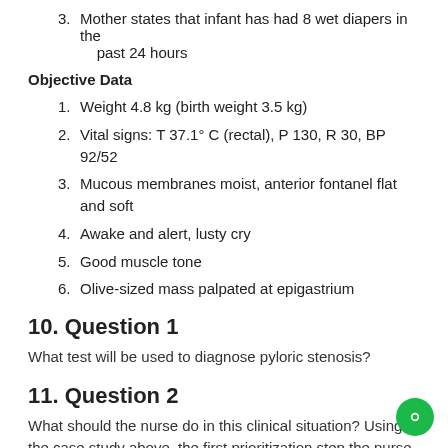3. Mother states that infant has had 8 wet diapers in the past 24 hours
Objective Data
1. Weight 4.8 kg (birth weight 3.5 kg)
2. Vital signs: T 37.1° C (rectal), P 130, R 30, BP 92/52
3. Mucous membranes moist, anterior fontanel flat and soft
4. Awake and alert, lusty cry
5. Good muscle tone
6. Olive-sized mass palpated at epigastrium
10. Question 1
What test will be used to diagnose pyloric stenosis?
11. Question 2
What should the nurse do in this clinical situation? Using the case study above, the first prioritization step the nurse would